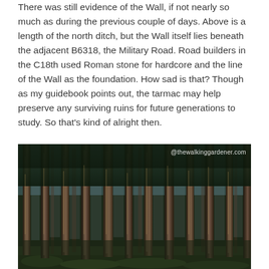There was still evidence of the Wall, if not nearly so much as during the previous couple of days.  Above is a length of the north ditch, but the Wall itself lies beneath the adjacent B6318, the Military Road.  Road builders in the C18th used Roman stone for hardcore and the line of the Wall as the foundation.  How sad is that?  Though as my guidebook points out, the tarmac may help preserve any surviving ruins for future generations to study.  So that's kind of alright then.
[Figure (photo): Photo of a dense conifer forest with tall straight tree trunks, forest floor visible below, light filtering through the canopy. Watermark '@thewalkinggardener.com' in white text top right.]